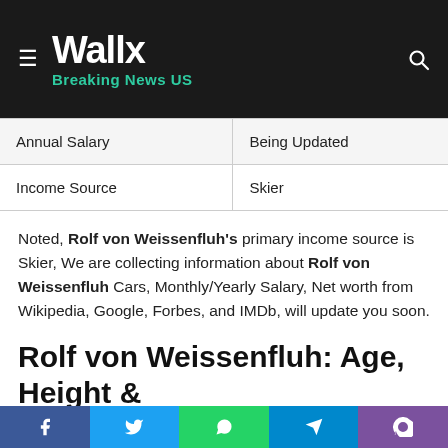Wallx — Breaking News US
| Field | Value |
| --- | --- |
| Annual Salary | Being Updated |
| Income Source | Skier |
Noted, Rolf von Weissenfluh's primary income source is Skier, We are collecting information about Rolf von Weissenfluh Cars, Monthly/Yearly Salary, Net worth from Wikipedia, Google, Forbes, and IMDb, will update you soon.
Rolf von Weissenfluh: Age, Height & Weight
Rolf von Weissenfluh's age 44 years (as in 2021), height &
Facebook | Twitter | WhatsApp | Telegram | Viber